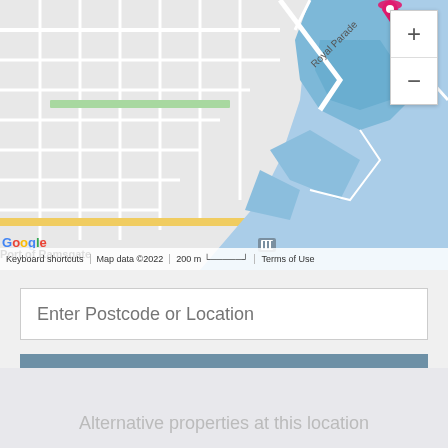[Figure (map): Google Maps screenshot showing Port of Ramsgate area with Royal Parade, harbour/marina area in blue, street grid, and a pink location marker pin. Map shows coastal area with blue water. Google logo and map attribution visible at bottom.]
Enter Postcode or Location
GET DRIVE TIME
Alternative properties at this location